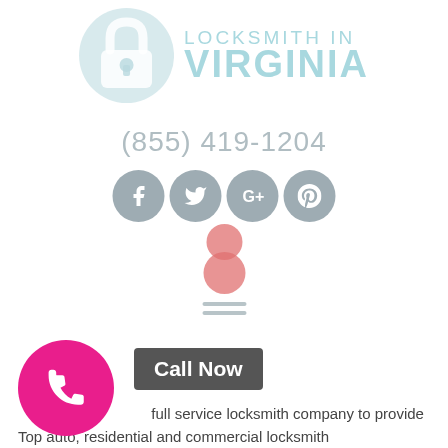[Figure (logo): Locksmith In Virginia logo with padlock icon and teal text]
(855) 419-1204
[Figure (infographic): Row of four social media icons (Facebook, Twitter, Google+, Pinterest) in grey circles, followed by a pink/red person icon and hamburger menu lines]
Locksmith Winchester VA
[Figure (infographic): Pink circle with white phone handset icon and a dark grey Call Now button]
full service locksmith company to provide Top auto, residential and commercial locksmith